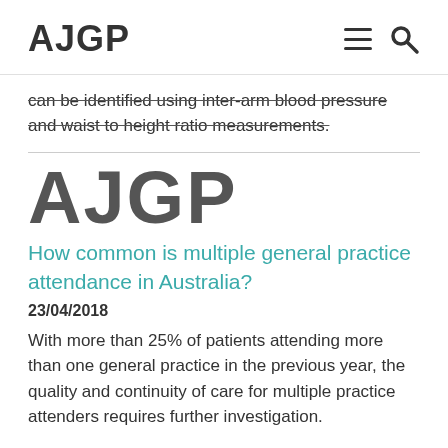AJGP
can be identified using inter-arm blood pressure and waist to height ratio measurements.
[Figure (logo): AJGP logo in large grey text]
How common is multiple general practice attendance in Australia?
23/04/2018
With more than 25% of patients attending more than one general practice in the previous year, the quality and continuity of care for multiple practice attenders requires further investigation.